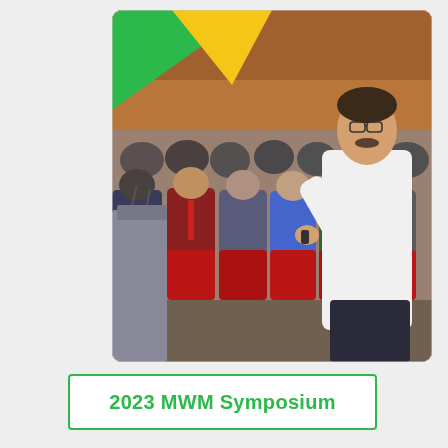[Figure (photo): A man in a white shirt presenting/speaking at a symposium conference room, holding a remote clicker, with an audience seated in red chairs behind him. A podium with microphones is visible on the left side. Decorative green and yellow triangular shapes appear in the upper-left corner of the image area.]
2023 MWM Symposium